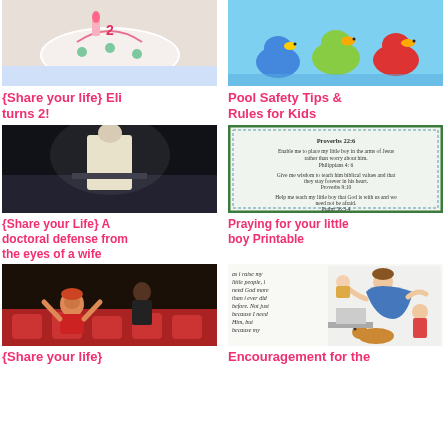[Figure (photo): Birthday cake with colorful decorations]
{Share your life} Eli turns 2!
[Figure (photo): Colorful rubber ducks in blue and red]
Pool Safety Tips & Rules for Kids
[Figure (photo): Person at doctoral defense, backlit stage scene]
{Share your Life} A doctoral defense from the eyes of a wife
[Figure (photo): Printable with Bible verses for praying for your little boy]
Praying for your little boy Printable
[Figure (photo): Toddler with red hair raising hands in excitement]
{Share your life}
[Figure (photo): Illustration of busy mom with kids and quote about raising little people needing God]
Encouragement for the